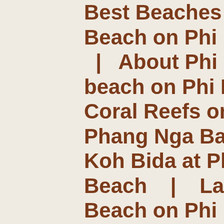Best Beaches on Phi Phi Island | Beach on Phi Phi Don Island | About Phi Phi | Ban beach on Phi Phi | Best Coral Reefs on Phi Phi Island | Phang Nga Bay | Ko Phi Koh Bida at Phi Phi Ley | Beach | Laem Tong Beach | Beach on Phi Phi Island | Loh Bagao and Lannah Bay | Loh Samah Bay | Loh island | Magnificent Maya Beach (Yung Gassem) | Bay | Phi Phi birds nest Island | Phi Phi Island D Island in December 2010 an Phi Island National Park | Attractions | Phi Phi Island Phi Ley and The Beach | Pi Ley | Quieter Phi Phi